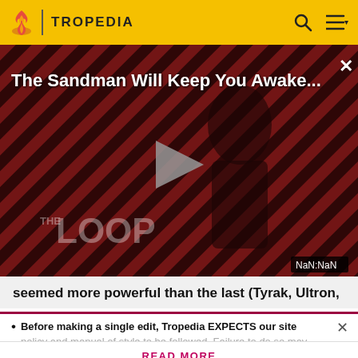TROPEDIA
[Figure (screenshot): Video thumbnail showing 'The Sandman Will Keep You Awake...' overlay on a dark red striped background with a figure in black, play button in center, THE LOOP watermark, and NaN:NaN timer badge]
seemed more powerful than the last (Tyrak, Ultron,
Before making a single edit, Tropedia EXPECTS our site policy and manual of style to be followed. Failure to do so may
READ MORE